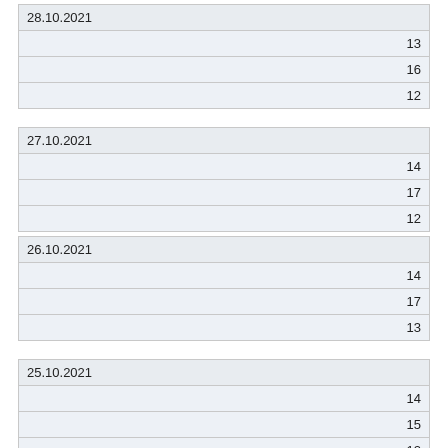| 28.10.2021 |
| 13 |
| 16 |
| 12 |
| 27.10.2021 |
| 14 |
| 17 |
| 12 |
| 26.10.2021 |
| 14 |
| 17 |
| 13 |
| 25.10.2021 |
| 14 |
| 15 |
| 12 |
| 24.10.2021 |
| 15 |
| 17 |